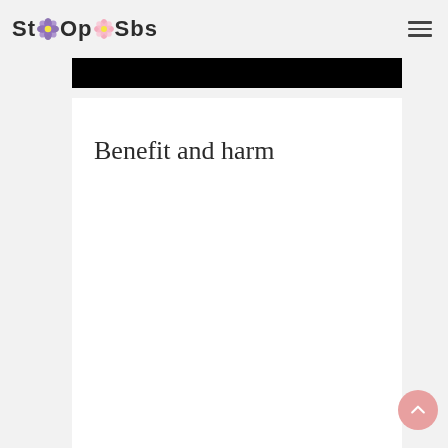StOpSbs
[Figure (illustration): Black banner image bar at top of content area]
Benefit and harm
[Figure (illustration): Pink circular scroll-to-top button with upward chevron arrow in bottom right corner]